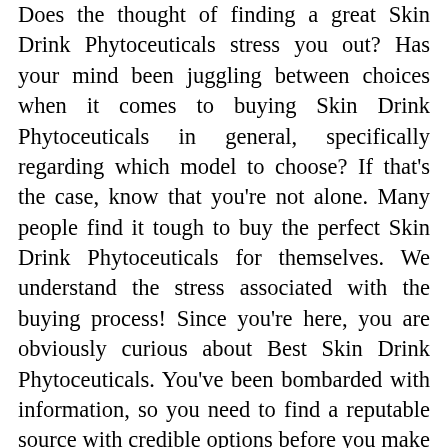Does the thought of finding a great Skin Drink Phytoceuticals stress you out? Has your mind been juggling between choices when it comes to buying Skin Drink Phytoceuticals in general, specifically regarding which model to choose? If that's the case, know that you're not alone. Many people find it tough to buy the perfect Skin Drink Phytoceuticals for themselves. We understand the stress associated with the buying process! Since you're here, you are obviously curious about Best Skin Drink Phytoceuticals. You've been bombarded with information, so you need to find a reputable source with credible options before you make any decisions on which product would be best for your needs. There are many sources that'll provide you with that information- buying guides or ratings websites, word-of-mouth testimonials from